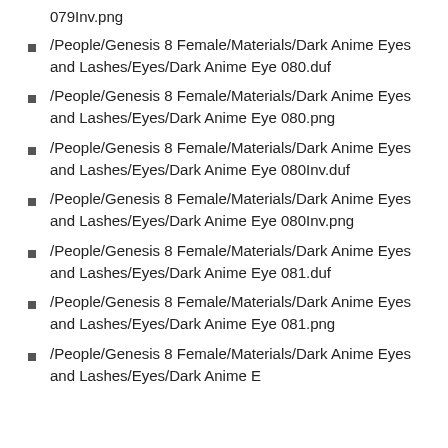079Inv.png
/People/Genesis 8 Female/Materials/Dark Anime Eyes and Lashes/Eyes/Dark Anime Eye 080.duf
/People/Genesis 8 Female/Materials/Dark Anime Eyes and Lashes/Eyes/Dark Anime Eye 080.png
/People/Genesis 8 Female/Materials/Dark Anime Eyes and Lashes/Eyes/Dark Anime Eye 080Inv.duf
/People/Genesis 8 Female/Materials/Dark Anime Eyes and Lashes/Eyes/Dark Anime Eye 080Inv.png
/People/Genesis 8 Female/Materials/Dark Anime Eyes and Lashes/Eyes/Dark Anime Eye 081.duf
/People/Genesis 8 Female/Materials/Dark Anime Eyes and Lashes/Eyes/Dark Anime Eye 081.png
/People/Genesis 8 Female/Materials/Dark Anime Eyes and Lashes/Eyes/Dark Anime Eye